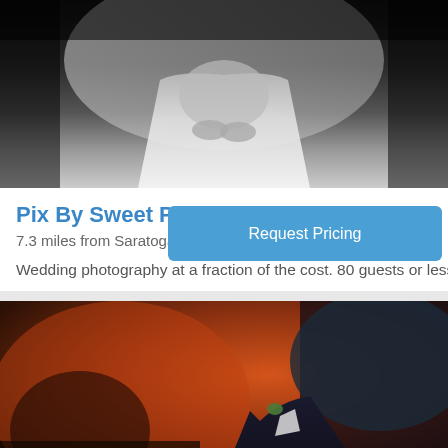[Figure (photo): Black and white photo of a bride in a white wedding dress and veil, cropped to show torso and hands]
Pix By Sweet Passions
7.3 miles from Saratoga, CA
Request Pricing
Wedding photography at a fraction of the cost. 80 guests or less
[Figure (photo): Color photo of a man in a dark suit with a boutonniere, blurred background with warm brown and orange tones]